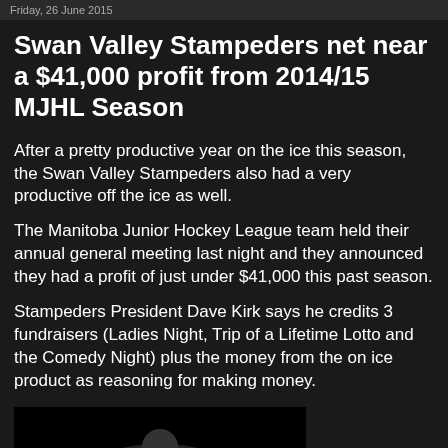Friday, 26 June 2015
Swan Valley Stampeders net near a $41,000 profit from 2014/15 MJHL Season
After a pretty productive year on the ice this season, the Swan Valley Stampeders also had a very productive off the ice as well.
The Manitoba Junior Hockey League team held their annual general meeting last night and they announced they had a profit of just under $41,000 this past season.
Stampeders President Dave Kirk says he credits 3 fundraisers (Ladies Night, Trip of a Lifetime Lotto and the Comedy Night) plus the money from the on ice product as reasoning for making money.
[Figure (photo): Dark image at bottom of page, partially visible, appears to be a photo related to the Swan Valley Stampeders hockey team]